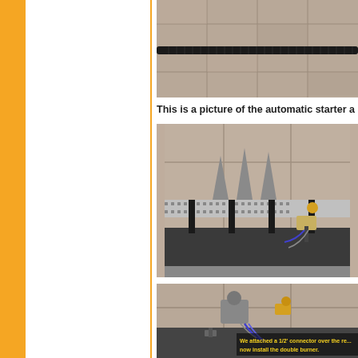[Figure (photo): Close-up photo of a black hose or tube against a stone/tile surface background]
This is a picture of the automatic starter a
[Figure (photo): Photo of a fireplace burner assembly installed in a stone firebox, showing a metallic perforated burner tray with black supports and gas valve components including wiring and fittings]
[Figure (photo): Photo of a gas valve and connector assembly installed in a stone firebox, with yellow text overlay reading: We attached a 1/2' connector over the re... now install the double burner.]